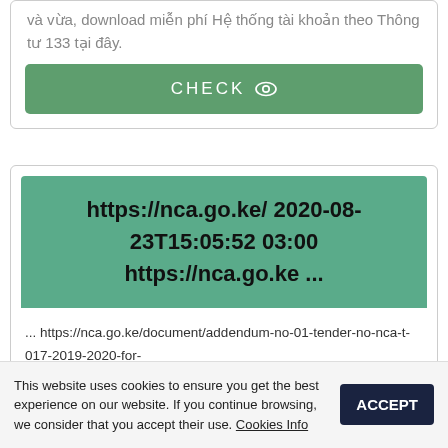và vừa, download miễn phí Hệ thống tài khoản theo Thông tư 133 tại đây.
[Figure (other): Green CHECK button with eye icon]
[Figure (other): Green box with URL and timestamp text: https://nca.go.ke/ 2020-08-23T15:05:52 03:00 https://nca.go.ke ...]
... https://nca.go.ke/document/addendum-no-01-tender-no-nca-t-017-2019-2020-for- ... https://nca.go.ke/nca-bamburi-kicks-off-builders-academy-seminars/ ...
This website uses cookies to ensure you get the best experience on our website. If you continue browsing, we consider that you accept their use. Cookies Info